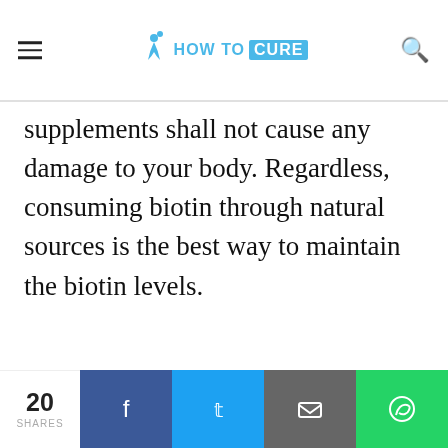HOW TO CURE
supplements shall not cause any damage to your body. Regardless, consuming biotin through natural sources is the best way to maintain the biotin levels.
[ ... Rich Foods ]
We use cookies & other tools to enhance your experience on our website and to analyze our web traffic.

For more information about these cookies and the data collected, please refer to our Privacy Policy.
I ACCEPT USE OF COOKIES
entration of
Scroll To
20 SHARES | Facebook | Twitter | Email | WhatsApp